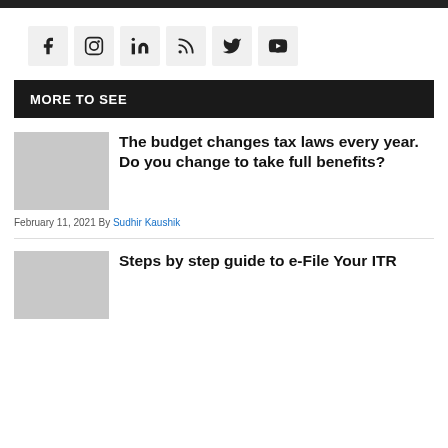[Figure (infographic): Row of six social media icon buttons: Facebook, Instagram, LinkedIn, RSS, Twitter, YouTube]
MORE TO SEE
[Figure (photo): Thumbnail image placeholder for article about budget tax law changes]
The budget changes tax laws every year. Do you change to take full benefits?
February 11, 2021 By Sudhir Kaushik
[Figure (photo): Thumbnail image placeholder for article about e-Filing ITR]
Steps by step guide to e-File Your ITR